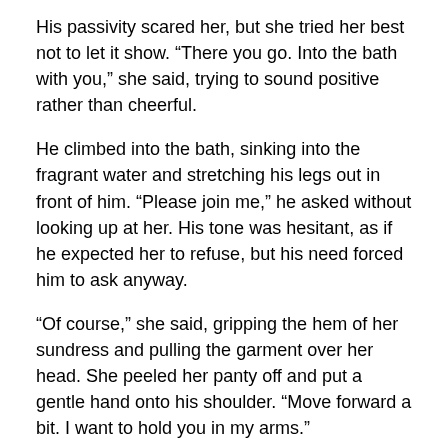His passivity scared her, but she tried her best not to let it show. “There you go. Into the bath with you,” she said, trying to sound positive rather than cheerful.
He climbed into the bath, sinking into the fragrant water and stretching his legs out in front of him. “Please join me,” he asked without looking up at her. His tone was hesitant, as if he expected her to refuse, but his need forced him to ask anyway.
“Of course,” she said, gripping the hem of her sundress and pulling the garment over her head. She peeled her panty off and put a gentle hand onto his shoulder. “Move forward a bit. I want to hold you in my arms.”
He cast a surprised glance at her, but obeyed wordlessly. She slipped in behind him, passing her legs on either side